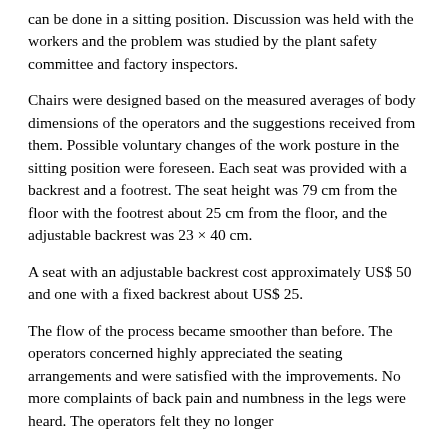can be done in a sitting position. Discussion was held with the workers and the problem was studied by the plant safety committee and factory inspectors.
Chairs were designed based on the measured averages of body dimensions of the operators and the suggestions received from them. Possible voluntary changes of the work posture in the sitting position were foreseen. Each seat was provided with a backrest and a footrest. The seat height was 79 cm from the floor with the footrest about 25 cm from the floor, and the adjustable backrest was 23 × 40 cm.
A seat with an adjustable backrest cost approximately US$ 50 and one with a fixed backrest about US$ 25.
The flow of the process became smoother than before. The operators concerned highly appreciated the seating arrangements and were satisfied with the improvements. No more complaints of back pain and numbness in the legs were heard. The operators felt they no longer